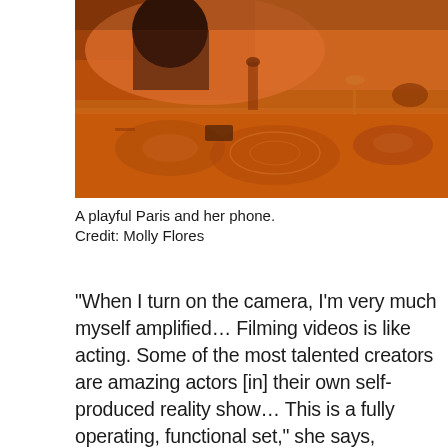[Figure (photo): A warm orange-toned photo of a restaurant or dining table scene. A person with dark hair is visible in the background. The table has ceramic plates, bowls, and placemats with circular patterns. The setting has a cozy, dim-lit ambiance with orange/amber tones.]
A playful Paris and her phone.
Credit: Molly Flores
“When I turn on the camera, I’m very much myself amplified… Filming videos is like acting. Some of the most talented creators are amazing actors [in] their own self-produced reality show… This is a fully operating, functional set,” she says, surveying her bright, spacious loft in downtown Manhattan. She moved here in the fall, out of a 10-by-10 foot box of a room in a shared apartment. She could have